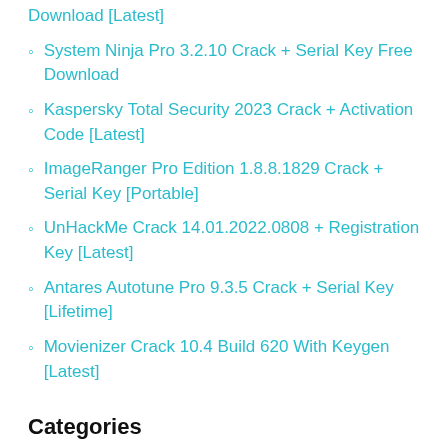Download [Latest]
System Ninja Pro 3.2.10 Crack + Serial Key Free Download
Kaspersky Total Security 2023 Crack + Activation Code [Latest]
ImageRanger Pro Edition 1.8.8.1829 Crack + Serial Key [Portable]
UnHackMe Crack 14.01.2022.0808 + Registration Key [Latest]
Antares Autotune Pro 9.3.5 Crack + Serial Key [Lifetime]
Movienizer Crack 10.4 Build 620 With Keygen [Latest]
Categories